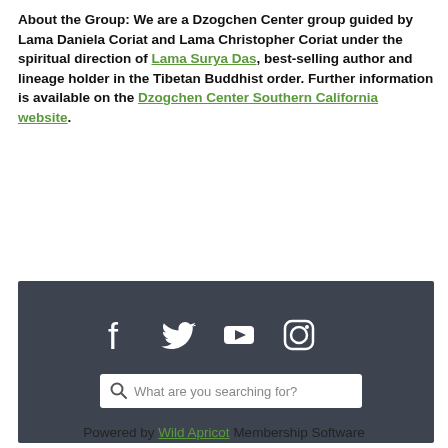About the Group: We are a Dzogchen Center group guided by Lama Daniela Coriat and Lama Christopher Coriat under the spiritual direction of Lama Surya Das, best-selling author and lineage holder in the Tibetan Buddhist order. Further information is available on the Dzogchen Center Southern California website.
[Figure (screenshot): Dark footer bar with social media icons (Facebook, Twitter, YouTube, Instagram) and a search bar reading 'What are you searching for?']
Powered by Wild Apricot Membership Software